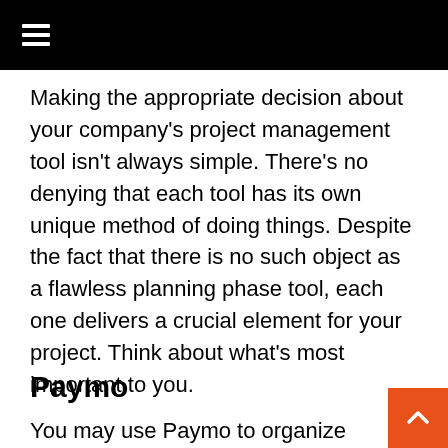≡
Making the appropriate decision about your company's project management tool isn't always simple. There's no denying that each tool has its own unique method of doing things. Despite the fact that there is no such object as a flawless planning phase tool, each one delivers a crucial element for your project. Think about what's most important to you.
Paymo
You may use Paymo to organize your projects and assignments from beginning to end, as well as